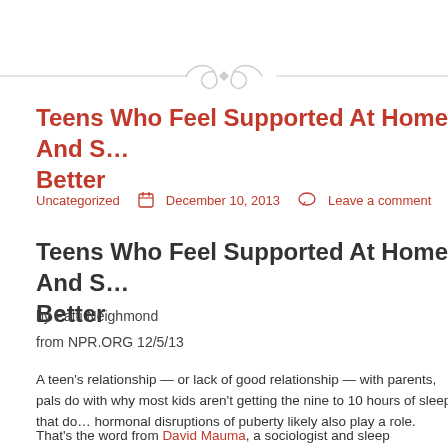[Figure (other): Decorative horizontal divider with scrollwork ornament in the center, light gray lines on either side]
Teens Who Feel Supported At Home And S… Better
Uncategorized   December 10, 2013   Leave a comment
Teens Who Feel Supported At Home And S… Better
by Patti Neighmond
from NPR.ORG 12/5/13
A teen's relationship — or lack of good relationship — with parents, pals do with why most kids aren't getting the nine to 10 hours of sleep that do… hormonal disruptions of puberty likely also play a role.
That's the word from David Mauma, a sociologist and sleep researcher…